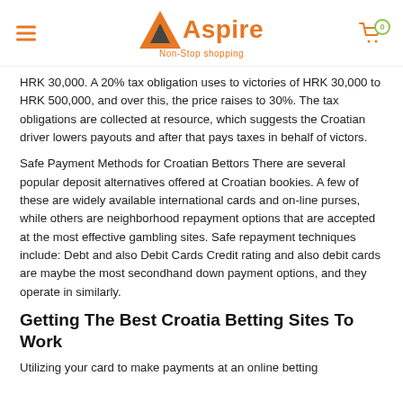Aspire Non-Stop shopping
HRK 30,000. A 20% tax obligation uses to victories of HRK 30,000 to HRK 500,000, and over this, the price raises to 30%. The tax obligations are collected at resource, which suggests the Croatian driver lowers payouts and after that pays taxes in behalf of victors.
Safe Payment Methods for Croatian Bettors There are several popular deposit alternatives offered at Croatian bookies. A few of these are widely available international cards and on-line purses, while others are neighborhood repayment options that are accepted at the most effective gambling sites. Safe repayment techniques include: Debt and also Debit Cards Credit rating and also debit cards are maybe the most secondhand down payment options, and they operate in similarly.
Getting The Best Croatia Betting Sites To Work
Utilizing your card to make payments at an online betting